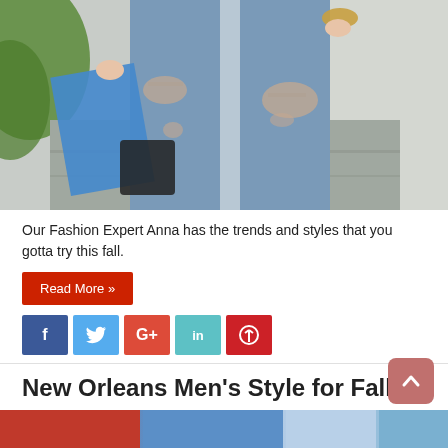[Figure (photo): Close-up photo of a person's lower body wearing distressed/ripped blue jeans, holding a blue jacket and what appears to a snack, on a street background.]
Our Fashion Expert Anna has the trends and styles that you gotta try this fall.
Read More »
[Figure (infographic): Social media share buttons: Facebook (f), Twitter (bird), Google+ (G+), LinkedIn (in), Pinterest (pin icon)]
New Orleans Men's Style for Fall
August 21, 2014   Fashion and Style
[Figure (photo): Thumbnail strip showing partial images of men's fall fashion.]